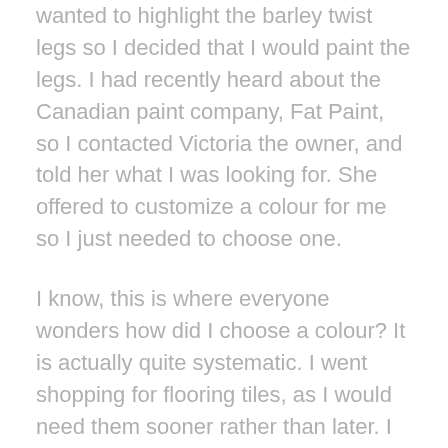wanted to highlight the barley twist legs so I decided that I would paint the legs. I had recently heard about the Canadian paint company, Fat Paint, so I contacted Victoria the owner, and told her what I was looking for. She offered to customize a colour for me so I just needed to choose one.
I know, this is where everyone wonders how did I choose a colour? It is actually quite systematic. I went shopping for flooring tiles, as I would need them sooner rather than later. I was also curious to see what I could find. The tile I settled on looks like wood but it isn't, it is ceramic. We also ran it into the hallway outside the bathroom and in the nearby laundry room. Well, this floor went with the nearby slate floor and it had the slightest touch of turquoise in it, so it became the jumping off point for the colour scheme. I decided on a darker turquoise for the vanity that would